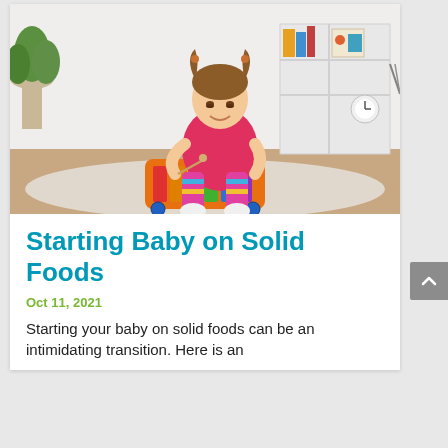[Figure (photo): A toddler girl with pigtails wearing a red shirt and colorful striped leggings, sitting on a beige carpet playing with a colorful xylophone toy. White shelving unit, green cylinder, and a plant are visible in the background.]
Starting Baby on Solid Foods
Oct 11, 2021
Starting your baby on solid foods can be an intimidating transition. Here is an